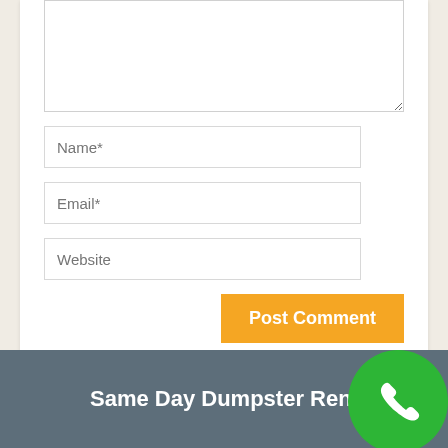[Figure (screenshot): Comment form with textarea, Name, Email, Website input fields, and an orange Post Comment button]
Same Day Dumpster Rental